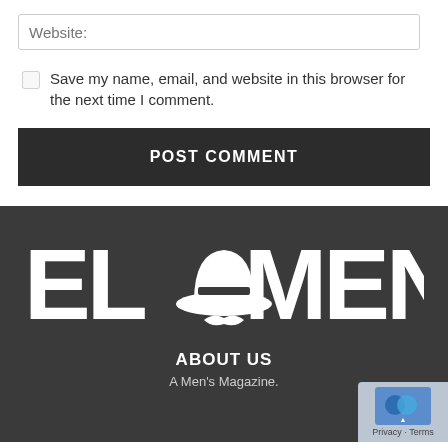Website:
Save my name, email, and website in this browser for the next time I comment.
POST COMMENT
[Figure (logo): EL MENS logo in white on dark background, with a fedora hat and mustache icon replacing the letter O]
ABOUT US
A Men's Magazine.